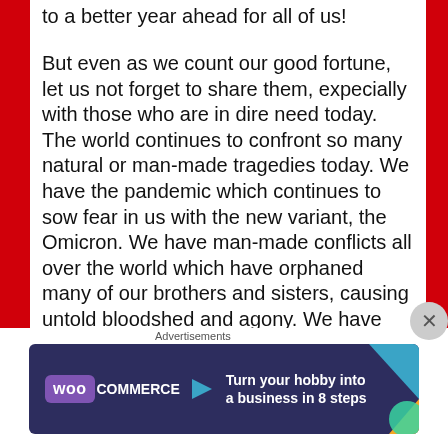to a better year ahead for all of us!
But even as we count our good fortune, let us not forget to share them, expecially with those who are in dire need today. The world continues to confront so many natural or man-made tragedies today. We have the pandemic which continues to sow fear in us with the new variant, the Omicron. We have man-made conflicts all over the world which have orphaned many of our brothers and sisters, causing untold bloodshed and agony. We have had natural calamities such as earthquakes, floods and most recently, Super Typhoon Odette, which hit Central Philippines...
Advertisements
[Figure (other): WooCommerce advertisement banner: dark navy background with purple WooCommerce logo on left, teal and orange triangle decorations on right, text 'Turn your hobby into a business in 8 steps']